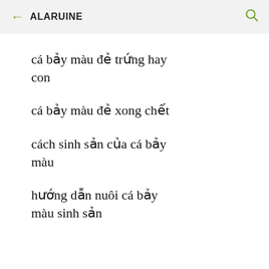← ALARUINE 🔍
cá bảy màu đẻ trứng hay con
cá bảy màu đẻ xong chết
cách sinh sản của cá bảy màu
hướng dẫn nuôi cá bảy màu sinh sản